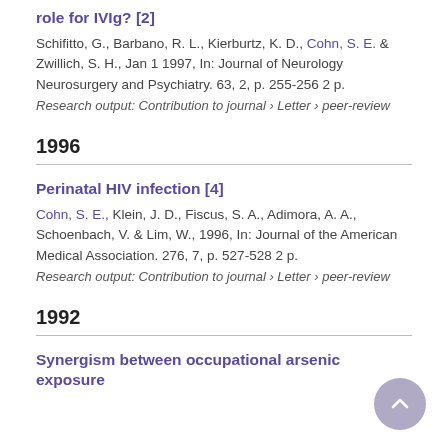role for IVIg? [2]
Schifitto, G., Barbano, R. L., Kierburtz, K. D., Cohn, S. E. & Zwillich, S. H., Jan 1 1997, In: Journal of Neurology Neurosurgery and Psychiatry. 63, 2, p. 255-256 2 p.
Research output: Contribution to journal › Letter › peer-review
1996
Perinatal HIV infection [4]
Cohn, S. E., Klein, J. D., Fiscus, S. A., Adimora, A. A., Schoenbach, V. & Lim, W., 1996, In: Journal of the American Medical Association. 276, 7, p. 527-528 2 p.
Research output: Contribution to journal › Letter › peer-review
1992
Synergism between occupational arsenic exposure